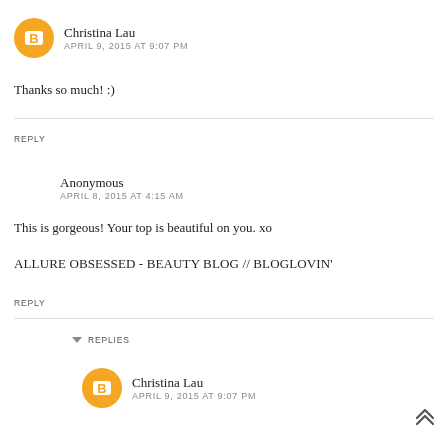[Figure (other): Blogger avatar icon — orange circle with white 'B' logo]
Christina Lau
APRIL 9, 2015 AT 9:07 PM
Thanks so much! :)
REPLY
[Figure (other): Anonymous commenter (no avatar)]
Anonymous
APRIL 8, 2015 AT 4:15 AM
This is gorgeous! Your top is beautiful on you. xo
ALLURE OBSESSED - BEAUTY BLOG // BLOGLOVIN'
REPLY
REPLIES
[Figure (other): Blogger avatar icon — orange circle with white 'B' logo]
Christina Lau
APRIL 9, 2015 AT 9:07 PM